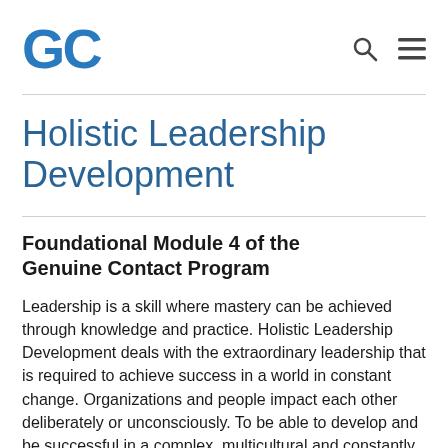GC [logo] [search icon] [menu icon]
Holistic Leadership Development
Foundational Module 4 of the Genuine Contact Program
Leadership is a skill where mastery can be achieved through knowledge and practice. Holistic Leadership Development deals with the extraordinary leadership that is required to achieve success in a world in constant change. Organizations and people impact each other deliberately or unconsciously. To be able to develop and be successful in a complex, multicultural and constantly changing environment